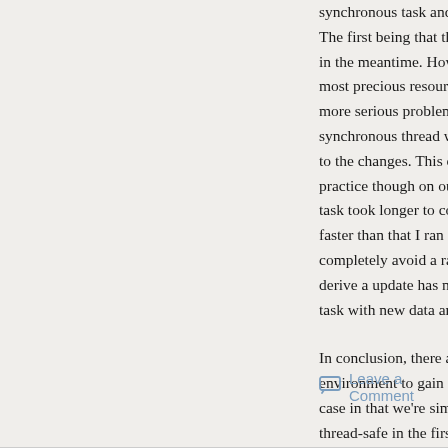synchronous task and wait for the reply. This works, bu... The first being that the Asynchronous task has to wait f... in the meantime. However as you may recall time in the... most precious resource, so blocking an asynchronous t... more serious problem exists with data integrity. Since d... synchronous thread while it's being worked on in the as... to the changes. This creates a race condition between t... practice though on our Minecraft server data could only... task took longer to complete than sync ticks and since c... faster than that I ran into no race conditions. But be wa... completely avoid a race condition you need to validate t... derive a update has not changed since the last tick and... task with new data and try again.
In conclusion, there are some tricks you can pull off if y... environment to gain a bit of threading. Minecraft server... case in that we're simply unable to follow the standard a... thread-safe in the first place. But if you're stuck in a situ... a bit of data to be thread-safe (such as making a Minec... will help you out a little.
Leave a Comment